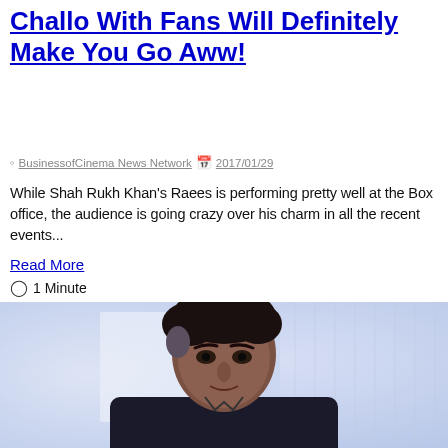Challo With Fans Will Definitely Make You Go Aww!
BusinessofCinema News Network  2017/01/29
While Shah Rukh Khan's Raees is performing pretty well at the Box office, the audience is going crazy over his charm in all the recent events...
Read More
1 Minute
[Figure (photo): A man in a black outfit, photographed indoors against a light blueish-white background, looking slightly to the right.]